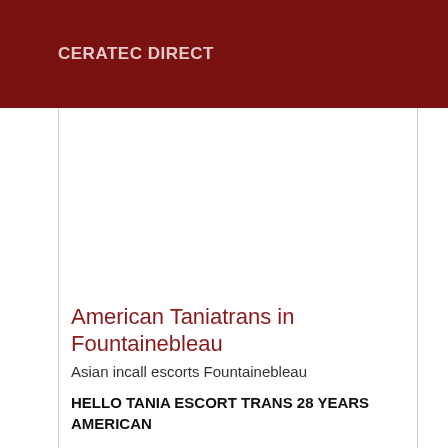CERATEC DIRECT
American Taniatrans in Fountainebleau
Asian incall escorts Fountainebleau
HELLO TANIA ESCORT TRANS 28 YEARS AMERICAN